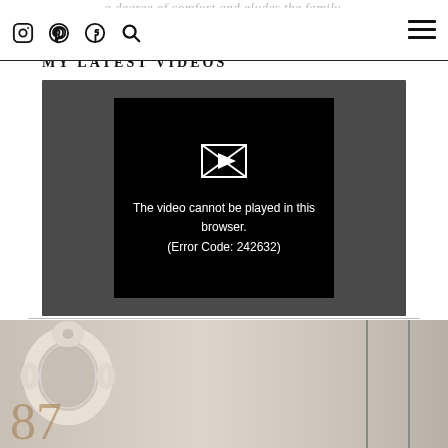a degree of comfort and eludes the family.
Instagram Pinterest Facebook Search Hamburger menu
MY LATEST VIDEOS
[Figure (screenshot): Video player showing error message: 'The video cannot be played in this browser. (Error Code: 242632)' on a dark background with a broken video icon.]
[Figure (photo): Interior room photo showing an ornate white round mirror and wall panels, with a large partially visible number in the foreground.]